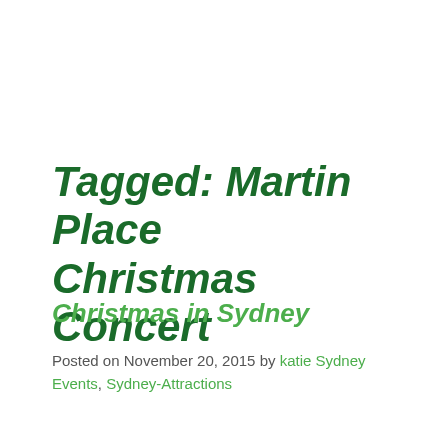Tagged: Martin Place Christmas Concert
Christmas in Sydney
Posted on November 20, 2015 by katie Sydney Events, Sydney-Attractions